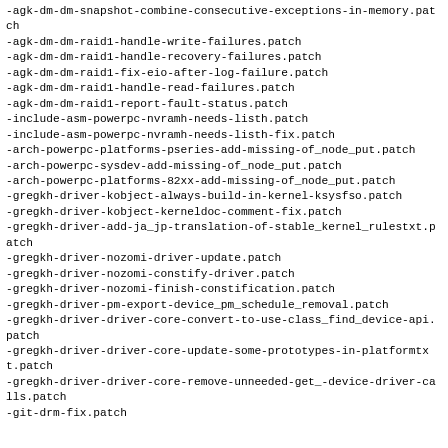-agk-dm-dm-snapshot-combine-consecutive-exceptions-in-memory.patch
-agk-dm-dm-raid1-handle-write-failures.patch
-agk-dm-dm-raid1-handle-recovery-failures.patch
-agk-dm-dm-raid1-fix-eio-after-log-failure.patch
-agk-dm-dm-raid1-handle-read-failures.patch
-agk-dm-dm-raid1-report-fault-status.patch
-include-asm-powerpc-nvramh-needs-listh.patch
-include-asm-powerpc-nvramh-needs-listh-fix.patch
-arch-powerpc-platforms-pseries-add-missing-of_node_put.patch
-arch-powerpc-sysdev-add-missing-of_node_put.patch
-arch-powerpc-platforms-82xx-add-missing-of_node_put.patch
-gregkh-driver-kobject-always-build-in-kernel-ksysfso.patch
-gregkh-driver-kobject-kerneldoc-comment-fix.patch
-gregkh-driver-add-ja_jp-translation-of-stable_kernel_rulestxt.patch
-gregkh-driver-nozomi-driver-update.patch
-gregkh-driver-nozomi-constify-driver.patch
-gregkh-driver-nozomi-finish-constification.patch
-gregkh-driver-pm-export-device_pm_schedule_removal.patch
-gregkh-driver-driver-core-convert-to-use-class_find_device-api.patch
-gregkh-driver-driver-core-update-some-prototypes-in-platformtxt.patch
-gregkh-driver-driver-core-remove-unneeded-get_-device-driver-calls.patch
-git-drm-fix.patch